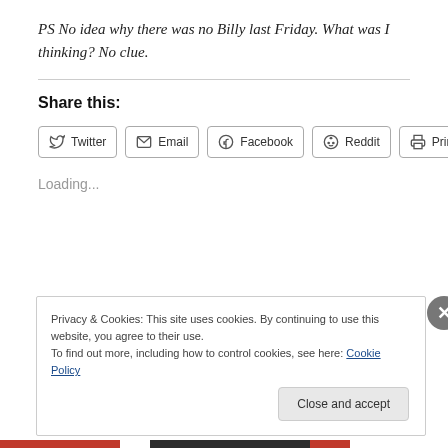PS No idea why there was no Billy last Friday. What was I thinking? No clue.
Share this:
Loading...
Privacy & Cookies: This site uses cookies. By continuing to use this website, you agree to their use.
To find out more, including how to control cookies, see here: Cookie Policy